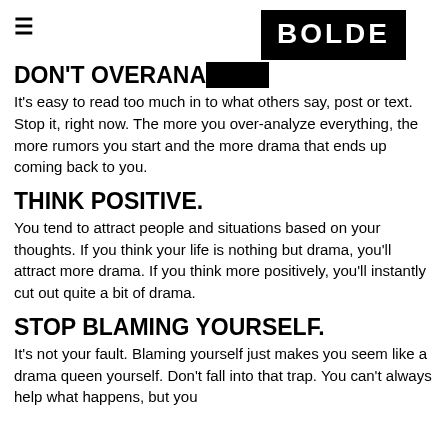[Figure (logo): BOLDE logo — white text on black square background]
DON'T OVERANA...
It's easy to read too much in to what others say, post or text. Stop it, right now. The more you over-analyze everything, the more rumors you start and the more drama that ends up coming back to you.
THINK POSITIVE.
You tend to attract people and situations based on your thoughts. If you think your life is nothing but drama, you'll attract more drama. If you think more positively, you'll instantly cut out quite a bit of drama.
STOP BLAMING YOURSELF.
It's not your fault. Blaming yourself just makes you seem like a drama queen yourself. Don't fall into that trap. You can't always help what happens, but you